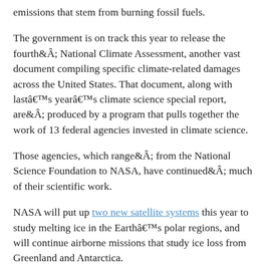emissions that stem from burning fossil fuels.
The government is on track this year to release the fourthÂ National Climate Assessment, another vast document compiling specific climate-related damages across the United States. That document, along with lastâs yearâs climate science special report, areÂ produced by a program that pulls together the work of 13 federal agencies invested in climate science.
Those agencies, which rangeÂ from the National Science Foundation to NASA, have continuedÂ much of their scientific work.
NASA will put up two new satellite systems this year to study melting ice in the Earthâs polar regions, and will continue airborne missions that study ice loss from Greenland and Antarctica.
NOAA continues to release monthly updates showing how much the Earthâs temperature is deviating from what has been seen